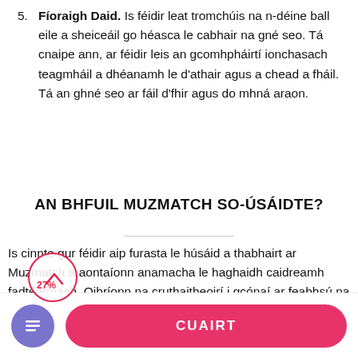5. Fíoraigh Daid. Is féidir leat tromchúis na n-déine ball eile a sheiceáil go héasca le cabhair na gné seo. Tá cnaipe ann, ar féidir leis an gcomhpháirtí ionchasach teagmháil a dhéanamh le d'athair agus a chead a fháil. Tá an ghné seo ar fáil d'fhir agus do mhná araon.
AN BHFUIL MUZMATCH SO-ÚSÁIDTE?
Is cinnte gur féidir aip furasta le húsáid a thabhairt ar Muzmatch a aontaíonn anamacha le haghaidh caidreamh fadtéarmach. Oibríonn na cruthaitheoirí i gcónaí ar feabhsú na aip, ar ionraidhé a dhéanamh